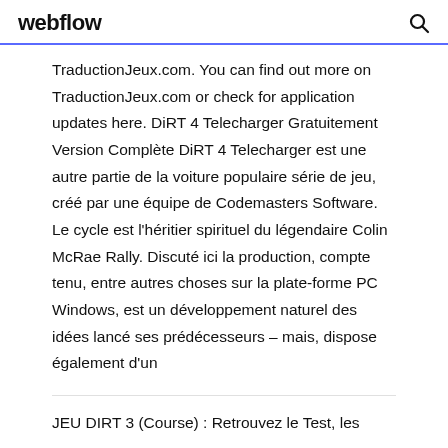webflow
TraductionJeux.com. You can find out more on TraductionJeux.com or check for application updates here. DiRT 4 Telecharger Gratuitement Version Complète DiRT 4 Telecharger est une autre partie de la voiture populaire série de jeu, créé par une équipe de Codemasters Software. Le cycle est l'héritier spirituel du légendaire Colin McRae Rally. Discuté ici la production, compte tenu, entre autres choses sur la plate-forme PC Windows, est un développement naturel des idées lancé ses prédécesseurs – mais, dispose également d'un
JEU DIRT 3 (Course) : Retrouvez le Test, les